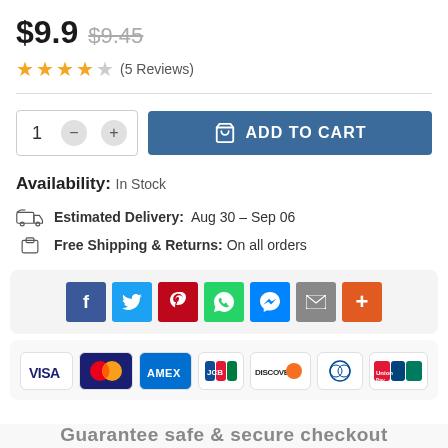$9.9  $9.45
★★★★☆ (5 Reviews)
1  −  +  ADD TO CART
Availability: In Stock
Estimated Delivery: Aug 30 – Sep 06
Free Shipping & Returns: On all orders
[Figure (other): Social share buttons: Facebook, Twitter, Pinterest, WhatsApp, Messenger, Email, More]
[Figure (other): Payment method icons: VISA, Mastercard, AMEX, JCB, Discover, Diners Club, UnionPay]
Guarantee safe & secure checkout